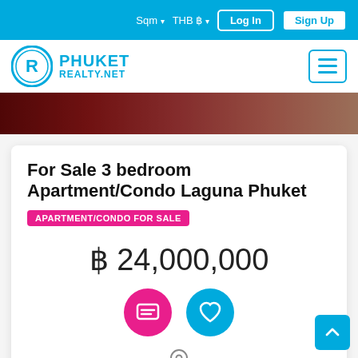Sqm ▾  THB ฿ ▾  Log In  Sign Up
[Figure (logo): Phuket Realty.net logo with R in circle and hamburger menu icon]
[Figure (photo): Red and tan colored interior photo strip (hero image)]
For Sale 3 bedroom Apartment/Condo Laguna Phuket
APARTMENT/CONDO FOR SALE
฿ 24,000,000
Location